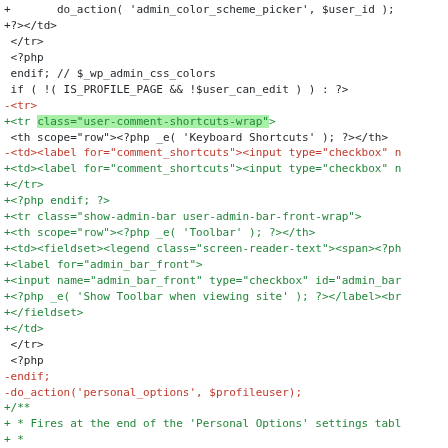[Figure (screenshot): Code diff screenshot showing PHP/HTML code with green added lines, red removed lines, and one highlighted line with class='user-comment-shortcuts-wrap']